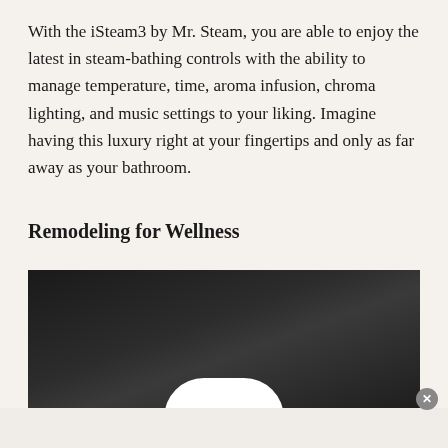With the iSteam3 by Mr. Steam, you are able to enjoy the latest in steam-bathing controls with the ability to manage temperature, time, aroma infusion, chroma lighting, and music settings to your liking. Imagine having this luxury right at your fingertips and only as far away as your bathroom.
Remodeling for Wellness
[Figure (photo): Dark photograph, mostly black background with a partial view of a white rounded device (iSteam3 controller) visible at the bottom center of the image.]